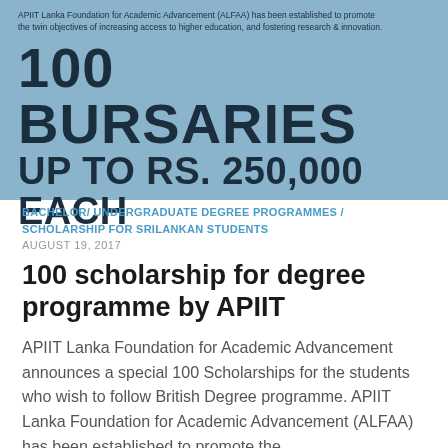[Figure (infographic): Blue banner image with ALFAA promotional text. Top small text reads: 'APIIT Lanka Foundation for Academic Advancement (ALFAA) has been established to promote the twin objectives of increasing access to higher education, and fostering research & innovation.' Large bold text: '100 BURSARIES' and below: 'UP TO RS. 250,000 EACH']
BACHELOR/ UNDERGRADUATE DEGREE PROGRAMMES / SCHOLARSHIP FOR SRILANKAN STUDENTS
AUGUST 19, 2017
100 scholarship for degree programme by APIIT
APIIT Lanka Foundation for Academic Advancement announces a special 100 Scholarships for the students who wish to follow British Degree programme. APIIT Lanka Foundation for Academic Advancement (ALFAA) has been established to promote the...